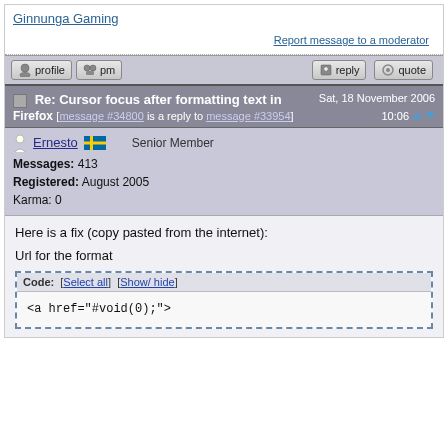Ginnunga Gaming
Report message to a moderator
profile  pm  reply  quote
Re: Cursor focus after formatting text in Firefox [message #34800 is a reply to message #33954]  Sat, 18 November 2006  10:06
Ernesto  Senior Member
Messages: 413
Registered: August 2005
Karma: 0
Here is a fix (copy pasted from the internet):
Url for the format
Code: [Select all] [Show/ hide]
<a href="javascript:void(0);" onclick="surroundText('[b]', '[/b]', document.post_form.msg_body); return false;">